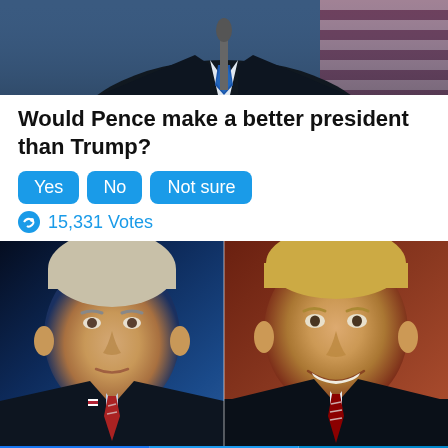[Figure (photo): Top portion of a man in a dark suit and blue tie at a podium with American flag in background]
Would Pence make a better president than Trump?
Yes | No | Not sure
15,331 Votes
[Figure (photo): Side-by-side photos of Joe Biden (left) and Donald Trump (right), both in dark suits with striped ties]
[Figure (infographic): Social sharing bar with Facebook, Twitter, and Telegram icons]